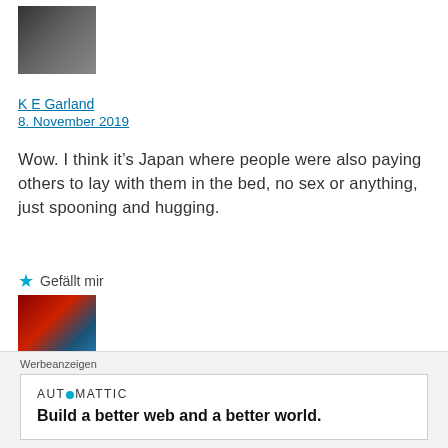[Figure (photo): Profile avatar of K E Garland - person in dark clothing]
K E Garland
8. November 2019
Wow. I think it’s Japan where people were also paying others to lay with them in the bed, no sex or anything, just spooning and hugging.
★ Gefällt mir
[Figure (photo): Profile avatar of aruna3 - mountain scene with red flag]
aruna3
5. November 2019
Werbeanzeigen
AUTOMATTIC
Build a better web and a better world.